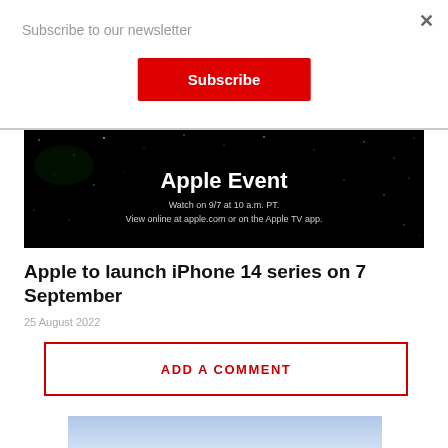Subscribe to our newsletter
Subscribe
[Figure (screenshot): Apple Event banner image on black starfield background with text 'Apple Event', 'Watch on 9/7 at 10 a.m. PT.', 'View online at apple.com or on the Apple TV app.']
Apple to launch iPhone 14 series on 7 September
25 August 2022
ADD A COMMENT
[Figure (photo): Partial blue-toned photo visible at bottom of page]